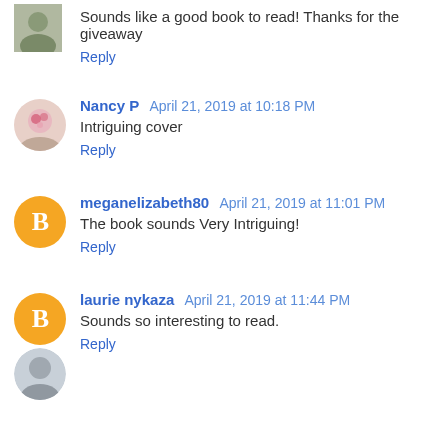Sounds like a good book to read! Thanks for the giveaway
Reply
Nancy P  April 21, 2019 at 10:18 PM
Intriguing cover
Reply
meganelizabeth80  April 21, 2019 at 11:01 PM
The book sounds Very Intriguing!
Reply
laurie nykaza  April 21, 2019 at 11:44 PM
Sounds so interesting to read.
Reply